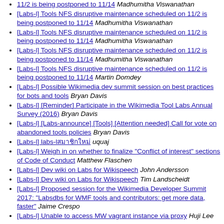[Labs-l] Tools NFS disruptive maintenance scheduled on 11/2 is being postponed to 11/14  Madhumitha Viswanathan
[Labs-l] Tools NFS disruptive maintenance scheduled on 11/2 is being postponed to 11/14  Madhumitha Viswanathan
[Labs-l] Tools NFS disruptive maintenance scheduled on 11/2 is being postponed to 11/14  Madhumitha Viswanathan
[Labs-l] Tools NFS disruptive maintenance scheduled on 11/2 is being postponed to 11/14  Madhumitha Viswanathan
[Labs-l] Tools NFS disruptive maintenance scheduled on 11/2 is being postponed to 11/14  Martin Domdey
[Labs-l] Possible Wikimedia dev summit session on best practices for bots and tools  Bryan Davis
[Labs-l] [Reminder] Participate in the Wikimedia Tool Labs Annual Survey (2016)  Bryan Davis
[Labs-l] [Labs-announce] [Tools] [Attention needed] Call for vote on abandoned tools policies  Bryan Davis
[Labs-l] labs-lสมาชิกใหม่  uquaj
[Labs-l] Weigh in on whether to finalize "Conflict of interest" sections of Code of Conduct  Matthew Flaschen
[Labs-l] Dev wiki on Labs for Wikispeech  John Andersson
[Labs-l] Dev wiki on Labs for Wikispeech  Tim Landscheidt
[Labs-l] Proposed session for the Wikimedia Developer Summit 2017: "Labsdbs for WMF tools and contributors: get more data, faster"  Jaime Crespo
[Labs-l] Unable to access MW vagrant instance via proxy  Huji Lee